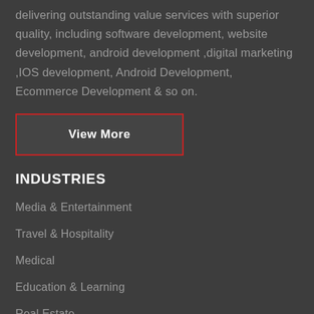delivering outstanding value services with superior quality, including software development, website development, android development ,digital marketing ,IOS development, Android Development, Ecommerce Development & so on.
[Figure (other): Dark grey button with red border containing bold white text 'View More']
INDUSTRIES
Media & Entertainment
Travel & Hospitality
Medical
Education & Learning
Real Estate
M-Commerce & E-Commerce